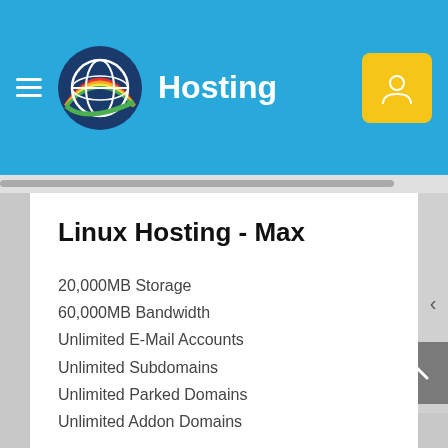Hosting
Linux Hosting - Max
20,000MB Storage
60,000MB Bandwidth
Unlimited E-Mail Accounts
Unlimited Subdomains
Unlimited Parked Domains
Unlimited Addon Domains
$9.90AUD
Mensile
Ordina subito